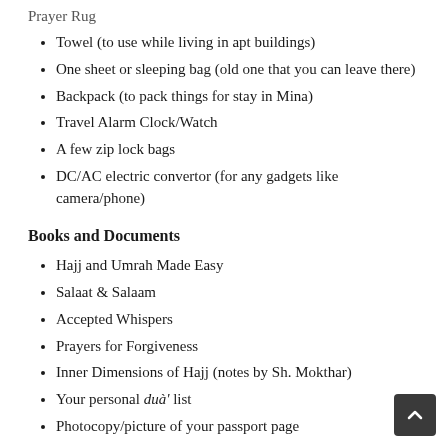Towel (to use while living in apt buildings)
One sheet or sleeping bag (old one that you can leave there)
Backpack (to pack things for stay in Mina)
Travel Alarm Clock/Watch
A few zip lock bags
DC/AC electric convertor (for any gadgets like camera/phone)
Books and Documents
Hajj and Umrah Made Easy
Salaat & Salaam
Accepted Whispers
Prayers for Forgiveness
Inner Dimensions of Hajj (notes by Sh. Mokthar)
Your personal duà' list
Photocopy/picture of your passport page
Miscellaneous